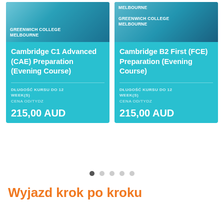[Figure (photo): Card for Cambridge C1 Advanced (CAE) Preparation (Evening Course) at Greenwich College Melbourne. Shows photo of students at top, course title, duration up to 12 weeks, price 215,00 AUD.]
[Figure (photo): Card for Cambridge B2 First (FCE) Preparation (Evening Course) at Greenwich College Melbourne. Shows photo of students at top, course title, duration up to 12 weeks, price 215,00 AUD.]
Wyjazd krok po kroku